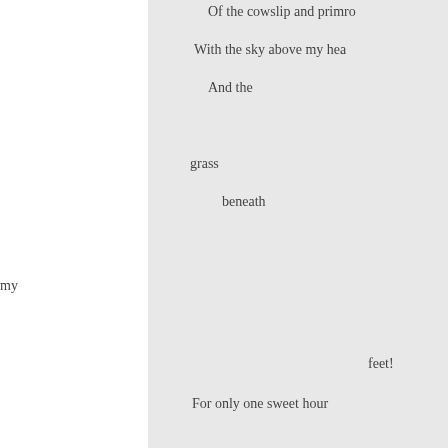Of the cowslip and primro...
With the sky above my hea...
And the

grass
    beneath

my

        feet!
For only one sweet hour

    To feel as I used to feel,
Before I knew the woes of w...



10 "Oh! but for one short hour!

    A respite, however brief !
    No blessed leisure for love o...

    But only time for grief!
A little weeping would ease...

    But in their briny bed